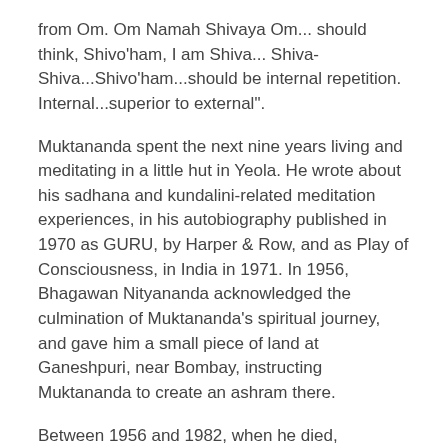from Om. Om Namah Shivaya Om... should think, Shivo'ham, I am Shiva... Shiva-Shiva...Shivo'ham...should be internal repetition. Internal...superior to external".
Muktananda spent the next nine years living and meditating in a little hut in Yeola. He wrote about his sadhana and kundalini-related meditation experiences, in his autobiography published in 1970 as GURU, by Harper & Row, and as Play of Consciousness, in India in 1971. In 1956, Bhagawan Nityananda acknowledged the culmination of Muktananda's spiritual journey, and gave him a small piece of land at Ganeshpuri, near Bombay, instructing Muktananda to create an ashram there.
Between 1956 and 1982, when he died, Muktananda taught the path he founded and named: the Siddha Yoga path. Central to his teachings were: